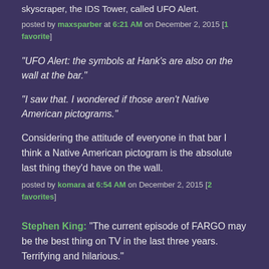skyscraper, the IDS Tower, called UFO Alert.
posted by maxsparber at 6:21 AM on December 2, 2015 [1 favorite]
"UFO Alert: the symbols at Hank's are also on the wall at the bar."
"I saw that. I wondered if those aren't Native American pictograms."
Considering the attitude of everyone in that bar I think a Native American pictogram is the absolute last thing they'd have on the wall.
posted by komara at 6:54 AM on December 2, 2015 [2 favorites]
Stephen King: "The current episode of FARGO may be the best thing on TV in the last three years. Terrifying and hilarious."